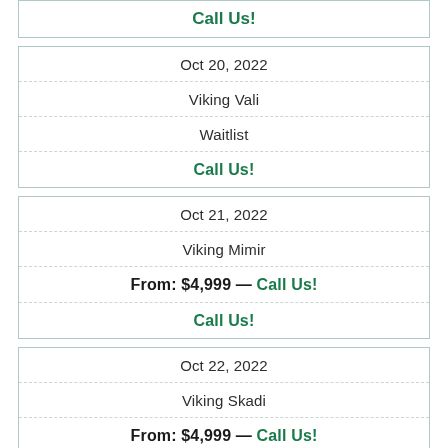Call Us!
| Oct 20, 2022 |
| Viking Vali |
| Waitlist |
| Call Us! |
| Oct 21, 2022 |
| Viking Mimir |
| From: $4,999 — Call Us! |
| Call Us! |
| Oct 22, 2022 |
| Viking Skadi |
| From: $4,999 — Call Us! |
| Call Us! |